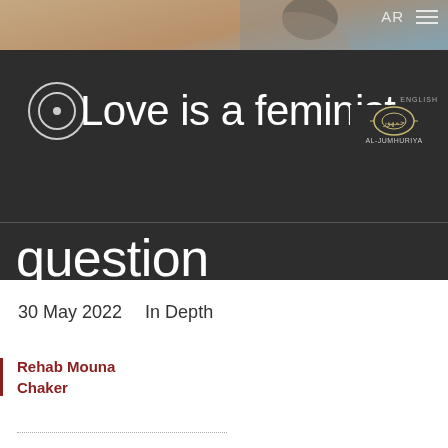[Figure (photo): Background photo showing a partial view of a figure, brownish/skin tones with bluish-gray upper area]
Love is a feminist question
30 May 2022   In Depth
Rehab Mouna Chaker